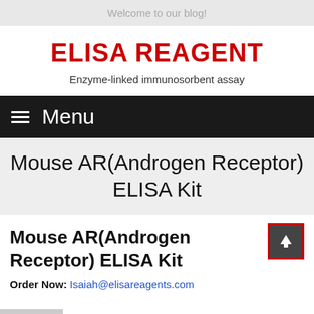Welcome to our blog!
ELISA REAGENT
Enzyme-linked immunosorbent assay
Menu
Mouse AR(Androgen Receptor) ELISA Kit
Mouse AR(Androgen Receptor) ELISA Kit
Order Now: Isaiah@elisareagents.com